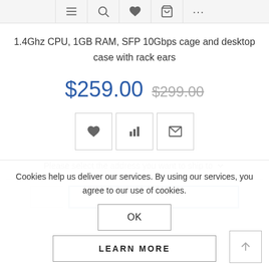Navigation icons: menu, search, heart, cart, more
1.4Ghz CPU, 1GB RAM, SFP 10Gbps cage and desktop case with rack ears
$259.00  $299.00
[Figure (other): Three action icon buttons: heart (wishlist), bar chart (compare), envelope (email)]
Please select the address you want to ship to
[Figure (other): Quantity input box and Add to Cart button with blue border]
Cookies help us deliver our services. By using our services, you agree to our use of cookies.
OK
LEARN MORE